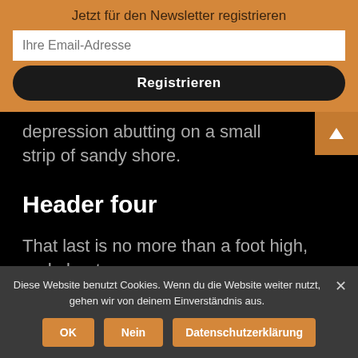Jetzt für den Newsletter registrieren
Ihre Email-Adresse
Registrieren
depression abutting on a small strip of sandy shore.
Header four
That last is no more than a foot high, and about seven paces across, a mere flat top of a grey rock which smokes like a hot
Diese Website benutzt Cookies. Wenn du die Website weiter nutzt, gehen wir von deinem Einverständnis aus.
OK
Nein
Datenschutzerklärung